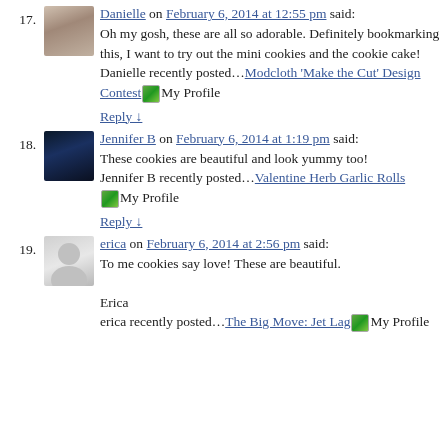17. Danielle on February 6, 2014 at 12:55 pm said: Oh my gosh, these are all so adorable. Definitely bookmarking this, I want to try out the mini cookies and the cookie cake! Danielle recently posted…Modcloth 'Make the Cut' Design Contest My Profile Reply ↓
18. Jennifer B on February 6, 2014 at 1:19 pm said: These cookies are beautiful and look yummy too! Jennifer B recently posted…Valentine Herb Garlic Rolls My Profile Reply ↓
19. erica on February 6, 2014 at 2:56 pm said: To me cookies say love! These are beautiful. Erica erica recently posted…The Big Move: Jet Lag My Profile